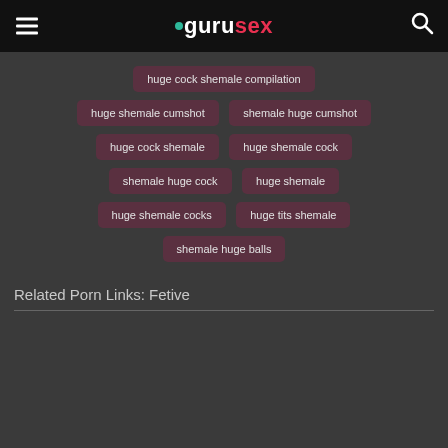gurusex
huge cock shemale compilation
huge shemale cumshot
shemale huge cumshot
huge cock shemale
huge shemale cock
shemale huge cock
huge shemale
huge shemale cocks
huge tits shemale
shemale huge balls
Related Porn Links: Fetive